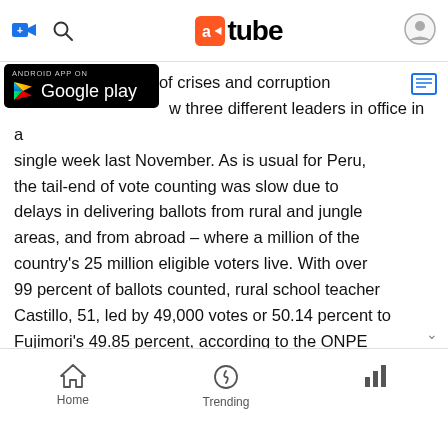[atube logo] [add icon] [search icon] [profile icon]
[Figure (logo): Google Play badge - Android App On Google Play]
years after a series of crises and corruption [Google Play overlay] w three different leaders in office in a single week last November. As is usual for Peru, the tail-end of vote counting was slow due to delays in delivering ballots from rural and jungle areas, and from abroad – where a million of the country's 25 million eligible voters live. With over 99 percent of ballots counted, rural school teacher Castillo, 51, led by 49,000 votes or 50.14 percent to Fujimori's 49.85 percent, according to the ONPE election authority. Observers from the Organization of American States have declared the ballot free
Home   Trending   [stats icon]